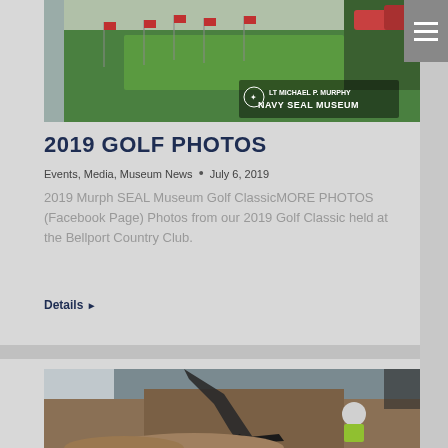[Figure (photo): Golf course with American flags on green lawn, Navy SEAL Museum watermark logo in bottom right corner]
2019 GOLF PHOTOS
Events, Media, Museum News • July 6, 2019
2019 Murph SEAL Museum Golf ClassicMORE PHOTOS (Facebook Page) Photos from our 2019 Golf Classic held at the Bellport Country Club.
Details ▶
[Figure (photo): Construction site with excavator digging dirt, worker in yellow safety vest visible in excavated trench]